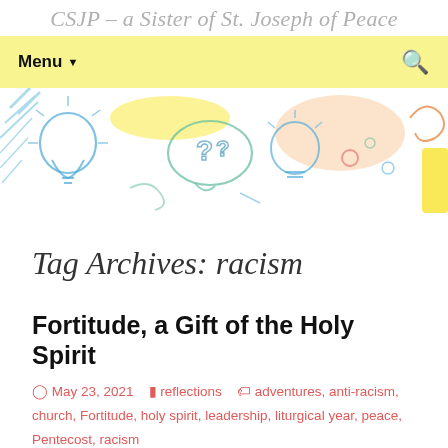CSJP – a Sister of St. Joseph of Peace
Menu
[Figure (illustration): Colorful hand-drawn doodle banner with light bulbs, question marks, speech bubbles, and abstract shapes in blue, yellow, orange, and green.]
Tag Archives: racism
Fortitude, a Gift of the Holy Spirit
May 23, 2021   reflections   adventures, anti-racism, church, Fortitude, holy spirit, leadership, liturgical year, peace, Pentecost, racism